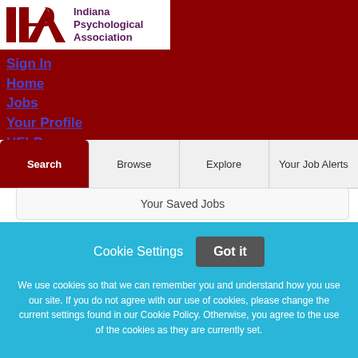[Figure (logo): Indiana Psychological Association logo with IPA initials in red and organization name in purple text on white background]
Sign In
Home
Jobs
Your Profile
HELP
Employers Post Jobs
Search | Browse | Explore | Your Job Alerts
Your Saved Jobs
Cookie Settings   Got it
We use cookies so that we can remember you and understand how you use our site. If you do not agree with our use of cookies, please change the current settings found in our Cookie Policy. Otherwise, you agree to the use of the cookies as they are currently set.